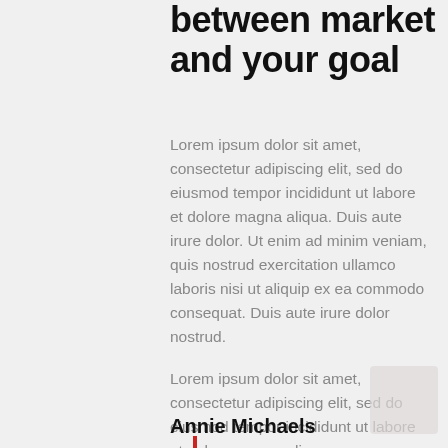between market and your goal
Lorem ipsum dolor sit amet, consectetur adipiscing elit, sed do eiusmod tempor incididunt ut labore et dolore magna aliqua. Duis aute irure dolor. Ut enim ad minim veniam, quis nostrud exercitation ullamco laboris nisi ut aliquip ex ea commodo consequat. Duis aute irure dolor nostrud.
Lorem ipsum dolor sit amet, consectetur adipiscing elit, sed do eiusmod tempor incididunt ut labore et dolore magna aliqua.
Annie Michaels